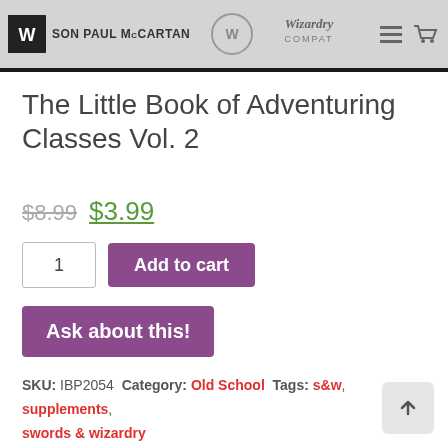SON PAUL McCARTAN — Wizardry Compatible
The Little Book of Adventuring Classes Vol. 2
$8.99  $3.99
Add to cart (quantity: 1)
Ask about this!
SKU: IBP2054  Category: Old School  Tags: s&w, supplements, swords & wizardry